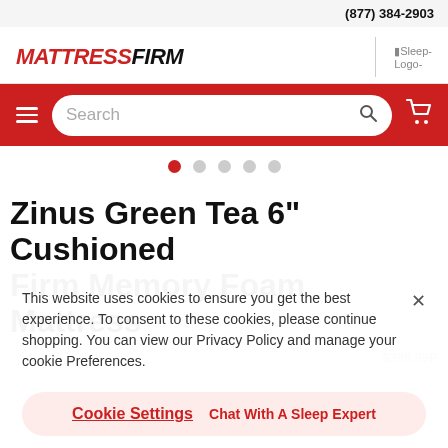(877) 384-2903
[Figure (logo): Mattress Firm logo in red italic bold uppercase text, with a vertical divider and Sleep-Logo- image placeholder to the right]
[Figure (screenshot): Red navigation bar with hamburger menu, search input with magnifier icon, and shopping cart icon]
[Figure (infographic): Dot pagination: 5 dots, first dot active (red), rest gray]
Zinus Green Tea 6” Cushioned Firm Memory Foam Mattress
This website uses cookies to ensure you get the best experience. To consent to these cookies, please continue shopping. You can view our Privacy Policy and manage your cookie Preferences.
Cookie Settings  Chat With A Sleep Expert